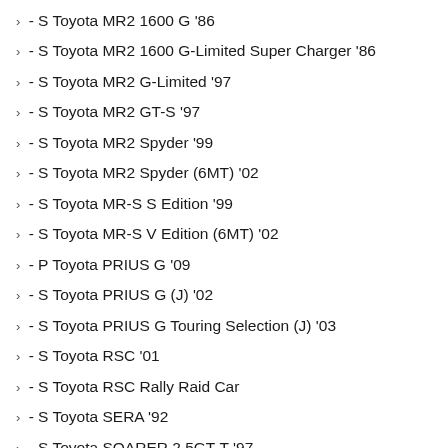> - S Toyota MR2 1600 G '86
> - S Toyota MR2 1600 G-Limited Super Charger '86
> - S Toyota MR2 G-Limited '97
> - S Toyota MR2 GT-S '97
> - S Toyota MR2 Spyder '99
> - S Toyota MR2 Spyder (6MT) '02
> - S Toyota MR-S S Edition '99
> - S Toyota MR-S V Edition (6MT) '02
> - P Toyota PRIUS G '09
> - S Toyota PRIUS G (J) '02
> - S Toyota PRIUS G Touring Selection (J) '03
> - S Toyota RSC '01
> - S Toyota RSC Rally Raid Car
> - S Toyota SERA '92
> - S Toyota SOARER 2.5GT-T '97
> - S Toyota SOARER 430SCV '01
> - S Toyota SPORTS 800 '65